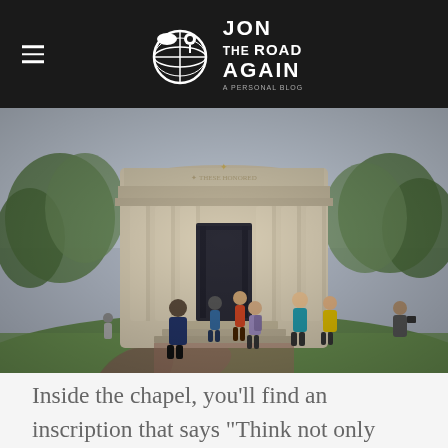Jon The Road Again
[Figure (photo): Visitors walking up steps into a large circular stone memorial chapel with tall columns, surrounded by green trees and lawn, overcast sky.]
Inside the chapel, you'll find an inscription that says “Think not only upon their passing remember the